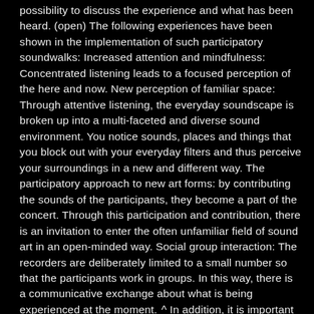possibility to discuss the experience and what has been heard. (open) The following experiences have been shown in the implementation of such participatory soundwalks: Increased attention and mindfulness: Concentrated listening leads to a focused perception of the here and now. New perception of familiar space: Through attentive listening, the everyday soundscape is broken up into a multi-faceted and diverse sound environment. You notice sounds, places and things that you block out with your everyday filters and thus perceive your surroundings in a new and different way. The participatory approach to new art forms: by contributing the sounds of the participants, they become a part of the concert. Through this participation and contribution, there is an invitation to enter the often unfamiliar field of sound art in an open-minded way. Social group interaction: The recorders are deliberately limited to a small number so that the participants work in groups. In this way, there is a communicative exchange about what is being experienced at the moment. In addition, it is important to keep an eye on each other as a group.